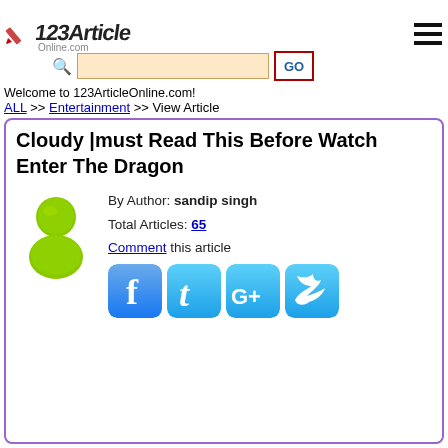123ArticleOnline.com logo and navigation header
Welcome to 123ArticleOnline.com!
ALL >> Entertainment >> View Article
Cloudy |must Read This Before Watch Enter The Dragon
By Author: sandip singh
Total Articles: 65
Comment this article